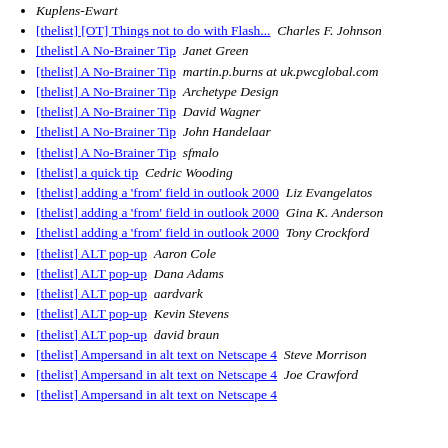Kuplens-Ewart
[thelist] [OT] Things not to do with Flash...  Charles F. Johnson
[thelist] A No-Brainer Tip  Janet Green
[thelist] A No-Brainer Tip  martin.p.burns at uk.pwcglobal.com
[thelist] A No-Brainer Tip  Archetype Design
[thelist] A No-Brainer Tip  David Wagner
[thelist] A No-Brainer Tip  John Handelaar
[thelist] A No-Brainer Tip  sfmalo
[thelist] a quick tip  Cedric Wooding
[thelist] adding a 'from' field in outlook 2000  Liz Evangelatos
[thelist] adding a 'from' field in outlook 2000  Gina K. Anderson
[thelist] adding a 'from' field in outlook 2000  Tony Crockford
[thelist] ALT pop-up  Aaron Cole
[thelist] ALT pop-up  Dana Adams
[thelist] ALT pop-up  aardvark
[thelist] ALT pop-up  Kevin Stevens
[thelist] ALT pop-up  david braun
[thelist] Ampersand in alt text on Netscape 4  Steve Morrison
[thelist] Ampersand in alt text on Netscape 4  Joe Crawford
[thelist] Ampersand in alt text on Netscape 4  ...